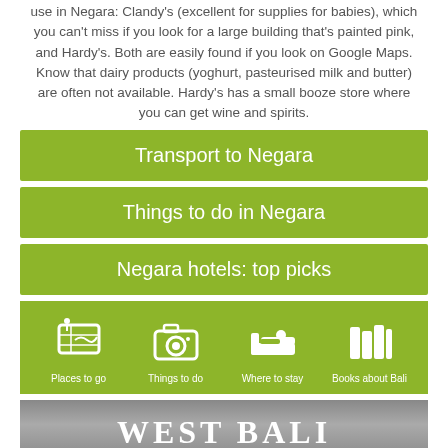use in Negara: Clandy's (excellent for supplies for babies), which you can't miss if you look for a large building that's painted pink, and Hardy's. Both are easily found if you look on Google Maps. Know that dairy products (yoghurt, pasteurised milk and butter) are often not available. Hardy's has a small booze store where you can get wine and spirits.
Transport to Negara
Things to do in Negara
Negara hotels: top picks
[Figure (infographic): Green bar with four white icons and labels: Places to go (map icon), Things to do (camera icon), Where to stay (bed icon), Books about Bali (books icon)]
WEST BALI